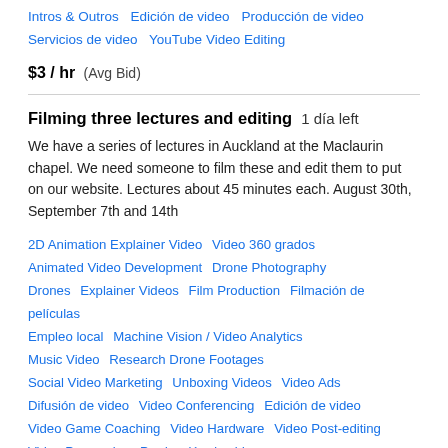Intros & Outros   Edición de video   Producción de video   Servicios de video   YouTube Video Editing
$3 / hr  (Avg Bid)
Filming three lectures and editing   1 día left
We have a series of lectures in Auckland at the Maclaurin chapel. We need someone to film these and edit them to put on our website. Lectures about 45 minutes each. August 30th, September 7th and 14th
2D Animation Explainer Video   Video 360 grados   Animated Video Development   Drone Photography   Drones   Explainer Videos   Film Production   Filmación de películas   Empleo local   Machine Vision / Video Analytics   Music Video   Research Drone Footages   Social Video Marketing   Unboxing Videos   Video Ads   Difusión de video   Video Conferencing   Edición de video   Video Game Coaching   Video Hardware   Video Post-editing   Video Processing   Producción de video